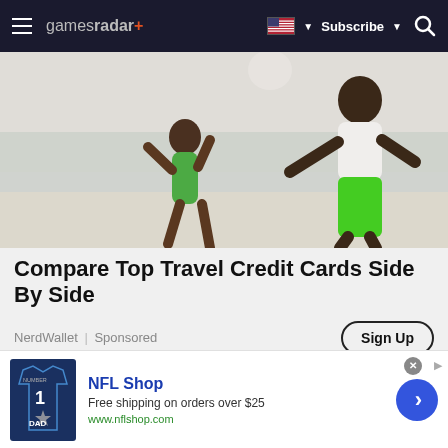gamesradar+ | Subscribe | [search icon]
[Figure (photo): A child in a green swimsuit jumping on a beach while an adult in green swim shorts reaches toward her, with a ball in the air above them]
Compare Top Travel Credit Cards Side By Side
NerdWallet | Sponsored
Sign Up
[Figure (photo): Partial view of second advertisement image showing a person from behind with light hair]
[Figure (photo): NFL Shop advertisement showing a Dallas Cowboys jersey with number 1 DAD text]
NFL Shop
Free shipping on orders over $25
www.nflshop.com